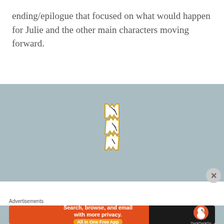ending/epilogue that focused on what would happen for Julie and the other main characters moving forward.
[Figure (illustration): A loading spinner icon made of jagged/zigzag-edged pieces in white with a yellow/gold outline, resembling a torn or ripped paper shape with dark line details, centered on a muted blue-gray background.]
Advertisements
[Figure (screenshot): DuckDuckGo advertisement banner: orange left section with text 'Search, browse, and email with more privacy.' and 'All in One Free App' button, dark right section with DuckDuckGo duck logo and DuckDuckGo text.]